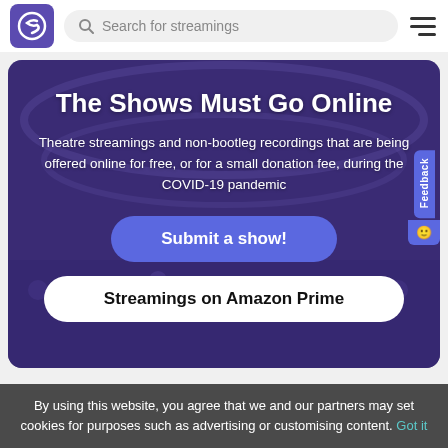[Figure (logo): Purple square logo with stylized S letter]
Search for streamings
[Figure (screenshot): Theatre audience hall background image with purple overlay]
The Shows Must Go Online
Theatre streamings and non-bootleg recordings that are being offered online for free, or for a small donation fee, during the COVID-19 pandemic
Submit a show!
Streamings on Amazon Prime
By using this website, you agree that we and our partners may set cookies for purposes such as advertising or customising content. Got it